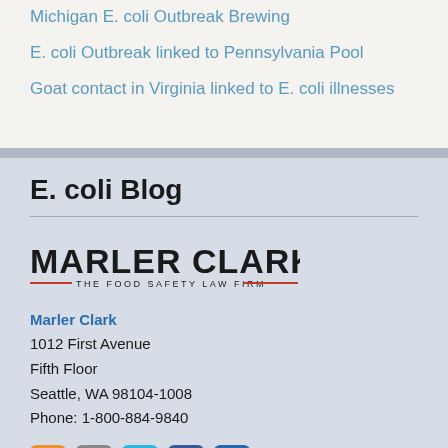Michigan E. coli Outbreak Brewing
E. coli Outbreak linked to Pennsylvania Pool
Goat contact in Virginia linked to E. coli illnesses
E. coli Blog
[Figure (logo): Marler Clark - The Food Safety Law Firm logo]
Marler Clark
1012 First Avenue
Fifth Floor
Seattle, WA 98104-1008
Phone: 1-800-884-9840
[Figure (infographic): Social media icons: RSS (orange), Instagram (grey), Twitter (blue), Facebook (dark blue), LinkedIn (blue)]